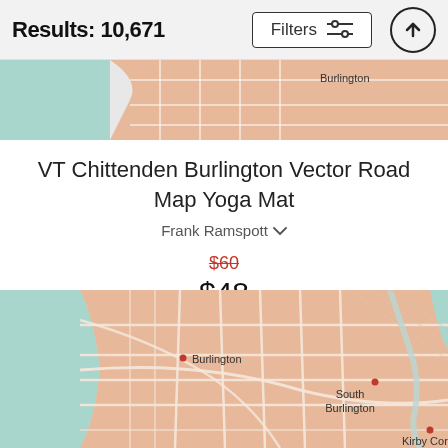Results: 10,671
[Figure (map): Partial map thumbnail showing Burlington VT area road map with teal water and peach/salmon land areas]
VT Chittenden Burlington Vector Road Map Yoga Mat
Frank Ramspott
$60 (strikethrough) $48
[Figure (map): Burlington Vermont area road map showing Burlington, South Burlington, and Kirby Corner labels with teal water areas on left and right, peach/salmon land with road network]